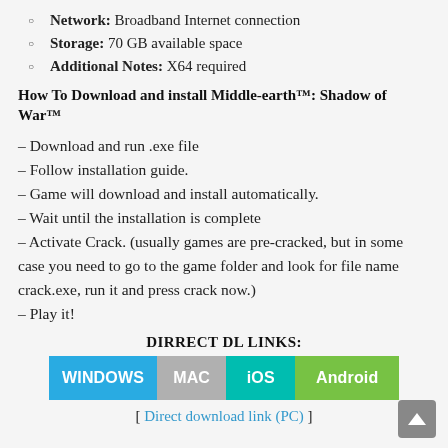Network: Broadband Internet connection
Storage: 70 GB available space
Additional Notes: X64 required
How To Download and install Middle-earth™: Shadow of War™
– Download and run .exe file
– Follow installation guide.
– Game will download and install automatically.
– Wait until the installation is complete
– Activate Crack. (usually games are pre-cracked, but in some case you need to go to the game folder and look for file name crack.exe, run it and press crack now.)
– Play it!
DIRRECT DL LINKS:
[Figure (infographic): Download buttons: WINDOWS (blue), MAC (gray), iOS (teal), Android (green)]
[ Direct download link (PC) ]